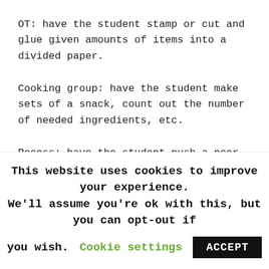OT: have the student stamp or cut and glue given amounts of items into a divided paper.
Cooking group: have the student make sets of a snack, count out the number of needed ingredients, etc.
Recess: have the student push a peer on the swig 5 times.
Be sure to let your therapists and special area
This website uses cookies to improve your experience. We'll assume you're ok with this, but you can opt-out if you wish. Cookie settings ACCEPT